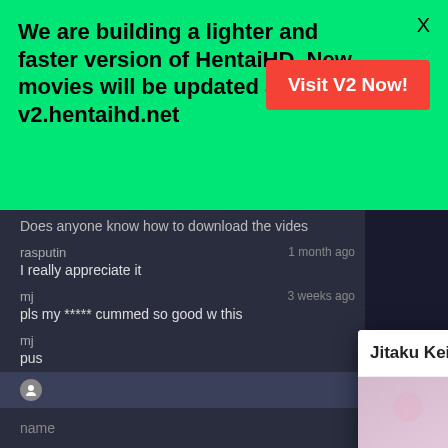We are building a lighter and faster version of HentaiHD. New movies will be updated at v2.hentaihd.net
Visit V2 Now!
X
Does anyone know how to download the vides
rasputin    1 month ago
I really appreciate it
mj    3 weeks ago
pls my ***** cummed so good w this
mj
pus
쪽쪽
쪽 쪽 쪽쪽쪽 쪽쪽 쪽쪽
James
I try
ayane
ni ni
[Figure (screenshot): Popup overlay showing anime video thumbnail for 'Jitaku Keibiin, Episode 1 Raw' with play button, up-arrow icon, and close X icon]
Jitaku Keibiin, Episode 1 Raw
name